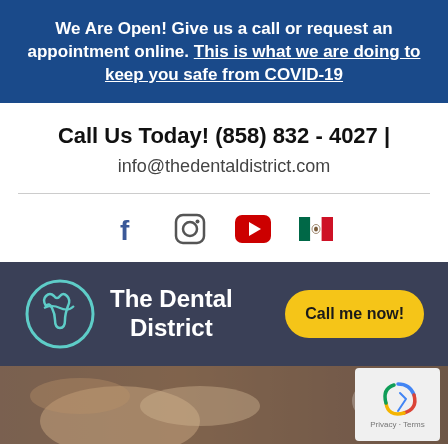We Are Open! Give us a call or request an appointment online. This is what we are doing to keep you safe from COVID-19
Call Us Today! (858) 832 - 4027 | info@thedentaldistrict.com
[Figure (infographic): Social media icons: Facebook, Instagram, YouTube, and Mexican flag icon]
[Figure (logo): The Dental District logo with teal circular tooth icon and text 'The Dental District', plus yellow 'Call me now!' button]
[Figure (photo): Background photo of dental hands/teeth, with reCAPTCHA privacy box in bottom right]